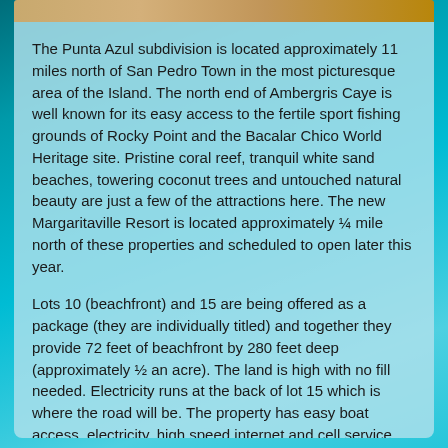[Figure (photo): Partial view of a beach/sandy area image strip at the top of the page]
The Punta Azul subdivision is located approximately 11 miles north of San Pedro Town in the most picturesque area of the Island. The north end of Ambergris Caye is well known for its easy access to the fertile sport fishing grounds of Rocky Point and the Bacalar Chico World Heritage site. Pristine coral reef, tranquil white sand beaches, towering coconut trees and untouched natural beauty are just a few of the attractions here. The new Margaritaville Resort is located approximately ¼ mile north of these properties and scheduled to open later this year.
Lots 10 (beachfront) and 15 are being offered as a package (they are individually titled) and together they provide 72 feet of beachfront by 280 feet deep (approximately ½ an acre). The land is high with no fill needed. Electricity runs at the back of lot 15 which is where the road will be. The property has easy boat access, electricity, high speed internet and cell service. You can drive to the property by cart or ATV which takes approximately 40 minutes from town (2 miles of the drive is on the beach as there is no road for the last stretch).